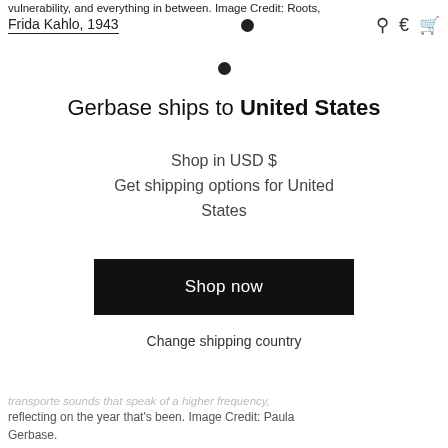vulnerability, and everything in between. Image Credit: Roots, Frida Kahlo, 1943
Gerbase ships to United States
Shop in USD $
Get shipping options for United States
Shop now
Change shipping country
transporte sounds that speak of a higher frequency, reflecting on the year that's been. Image Credit: Paula Gerbase.